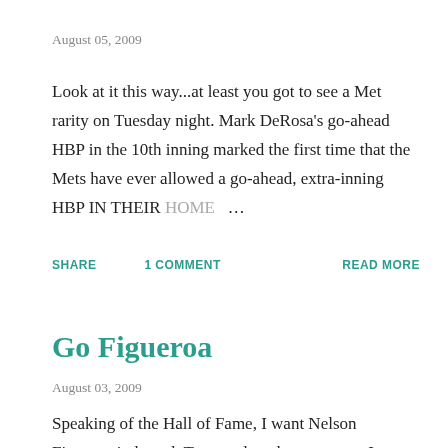August 05, 2009
Look at it this way...at least you got to see a Met rarity on Tuesday night. Mark DeRosa's go-ahead HBP in the 10th inning marked the first time that the Mets have ever allowed a go-ahead, extra-inning HBP IN THEIR HOME …
SHARE   1 COMMENT   READ MORE
Go Figueroa
August 03, 2009
Speaking of the Hall of Fame, I want Nelson Figueroa inducted. To complete the sentence...I want Nelson